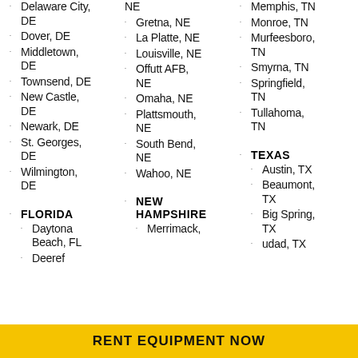Delaware City, DE
Dover, DE
Middletown, DE
Townsend, DE
New Castle, DE
Newark, DE
St. Georges, DE
Wilmington, DE
FLORIDA
Daytona Beach, FL
Deeref...
NE
Gretna, NE
La Platte, NE
Louisville, NE
Offutt AFB, NE
Omaha, NE
Plattsmouth, NE
South Bend, NE
Wahoo, NE
NEW HAMPSHIRE
Merrimack,
Memphis, TN
Monroe, TN
Murfeesboro, TN
Smyrna, TN
Springfield, TN
Tullahoma, TN
TEXAS
Austin, TX
Beaumont, TX
Big Spring, TX
udad, TX
RENT EQUIPMENT NOW